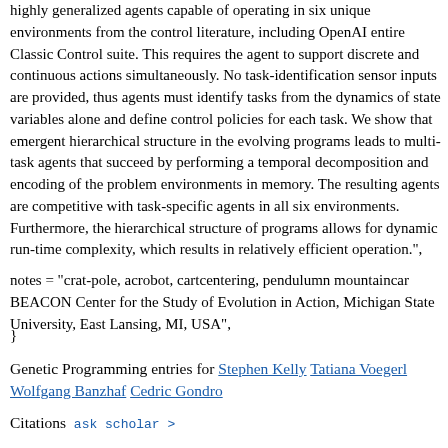highly generalized agents capable of operating in six unique environments from the control literature, including OpenAI entire Classic Control suite. This requires the agent to support discrete and continuous actions simultaneously. No task-identification sensor inputs are provided, thus agents must identify tasks from the dynamics of state variables alone and define control policies for each task. We show that emergent hierarchical structure in the evolving programs leads to multi-task agents that succeed by performing a temporal decomposition and encoding of the problem environments in memory. The resulting agents are competitive with task-specific agents in all six environments. Furthermore, the hierarchical structure of programs allows for dynamic run-time complexity, which results in relatively efficient operation.",
notes = "crat-pole, acrobot, cartcentering, pendulumn mountaincar BEACON Center for the Study of Evolution in Action, Michigan State University, East Lansing, MI, USA",
}
Genetic Programming entries for Stephen Kelly Tatiana Voegerl Wolfgang Banzhaf Cedric Gondro
Citations  ask scholar >